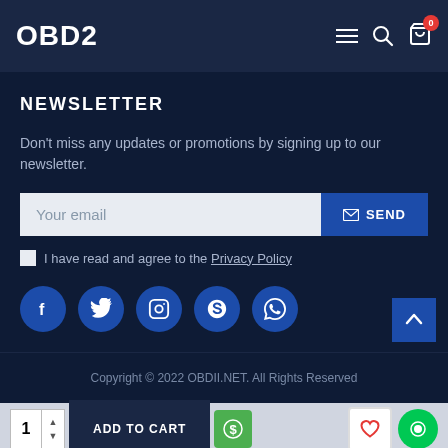OBD2
NEWSLETTER
Don't miss any updates or promotions by signing up to our newsletter.
Your email  SEND
I have read and agree to the Privacy Policy
[Figure (other): Social media icons: Facebook, Twitter, Instagram, Skype, WhatsApp]
Copyright © 2022 OBDII.NET. All Rights Reserved
1  ADD TO CART